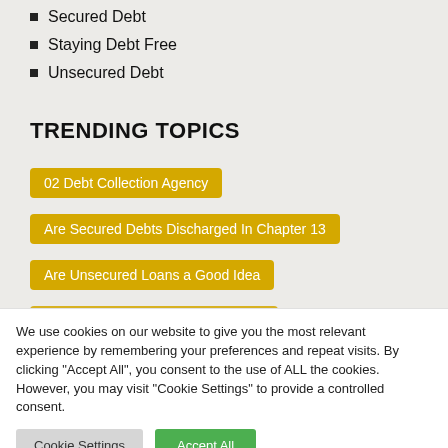Secured Debt
Staying Debt Free
Unsecured Debt
TRENDING TOPICS
02 Debt Collection Agency
Are Secured Debts Discharged In Chapter 13
Are Unsecured Loans a Good Idea
Can Unsecured Debt Be Garnished
We use cookies on our website to give you the most relevant experience by remembering your preferences and repeat visits. By clicking "Accept All", you consent to the use of ALL the cookies. However, you may visit "Cookie Settings" to provide a controlled consent.
Cookie Settings
Accept All